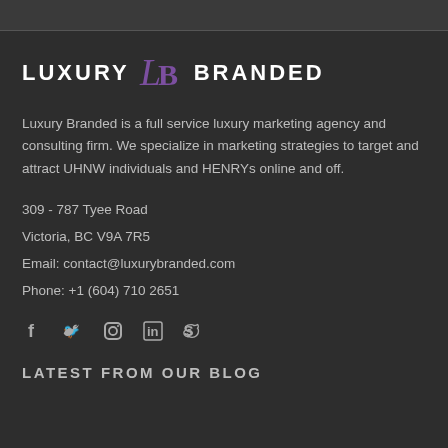[Figure (logo): Luxury Branded logo: text 'LUXURY' then stylized LB monogram in purple then 'BRANDED' in white uppercase letters]
Luxury Branded is a full service luxury marketing agency and consulting firm. We specialize in marketing strategies to target and attract UHNW individuals and HENRYs online and off.
309 - 787 Tyee Road
Victoria, BC V9A 7R5
Email: contact@luxurybranded.com
Phone: +1 (604) 710 2651
[Figure (illustration): Social media icons: Facebook, Twitter, Instagram, LinkedIn, Skype]
LATEST FROM OUR BLOG